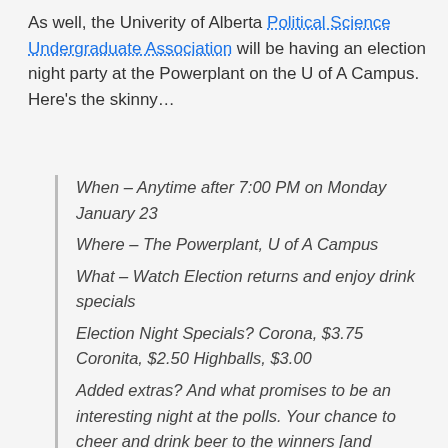As well, the Univerity of Alberta Political Science Undergraduate Association will be having an election night party at the Powerplant on the U of A Campus. Here's the skinny…
When – Anytime after 7:00 PM on Monday January 23
Where – The Powerplant, U of A Campus
What – Watch Election returns and enjoy drink specials
Election Night Specials? Corona, $3.75 Coronita, $2.50 Highballs, $3.00
Added extras? And what promises to be an interesting night at the polls. Your chance to cheer and drink beer to the winners [and losers!] of the election.